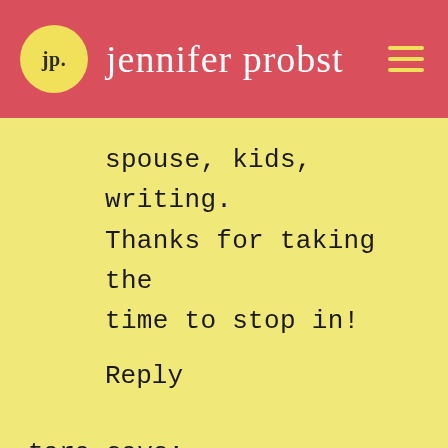jennifer probst
spouse, kids, writing. Thanks for taking the time to stop in!
Reply
tara says:
March 13, 2012 at 2:51 pm
It's tough to find